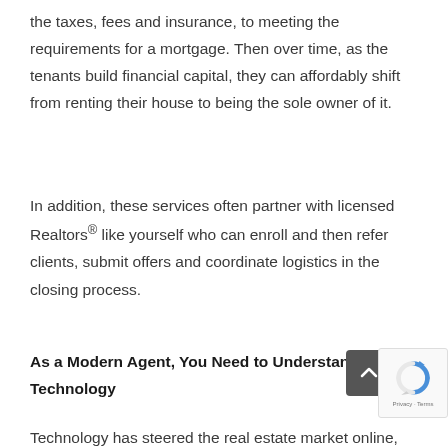the taxes, fees and insurance, to meeting the requirements for a mortgage. Then over time, as the tenants build financial capital, they can affordably shift from renting their house to being the sole owner of it.
In addition, these services often partner with licensed Realtors® like yourself who can enroll and then refer clients, submit offers and coordinate logistics in the closing process.
As a Modern Agent, You Need to Understand the Technology
Technology has steered the real estate market online,